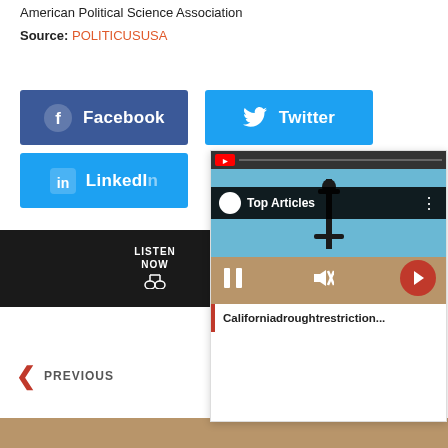American Political Science Association
Source: POLITICUSUSA
[Figure (screenshot): Facebook share button (dark blue) and Twitter share button (light blue), LinkedIn share button (light blue), Listen Now bar (dark), overlapping video panel showing Top Articles with beach scene thumbnail and caption 'Californiadroughtrestriction...']
PREVIOUS
[Figure (photo): Bottom strip showing partial image]